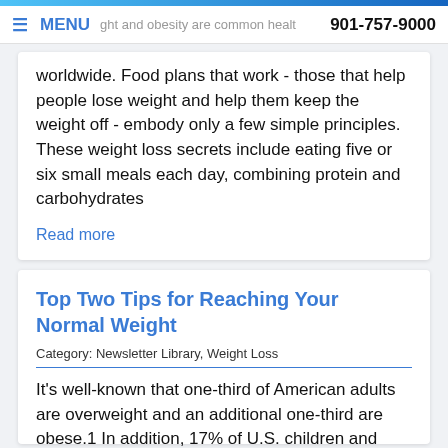MENU | 901-757-9000
worldwide. Food plans that work - those that help people lose weight and help them keep the weight off - embody only a few simple principles. These weight loss secrets include eating five or six small meals each day, combining protein and carbohydrates
Read more
Top Two Tips for Reaching Your Normal Weight
Category: Newsletter Library, Weight Loss
It's well-known that one-third of American adults are overweight and an additional one-third are obese.1 In addition, 17% of U.S. children and adolescents are obese.2 Worldwide statistics are similar. These facts